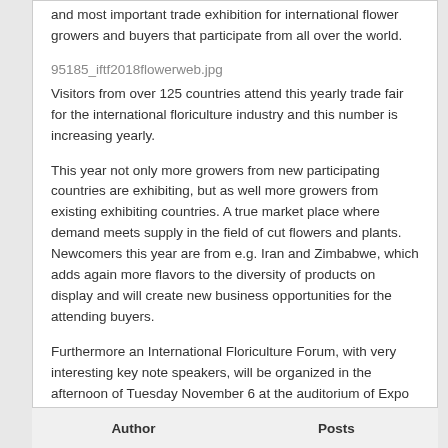and most important trade exhibition for international flower growers and buyers that participate from all over the world.
95185_iftf2018flowerweb.jpg
Visitors from over 125 countries attend this yearly trade fair for the international floriculture industry and this number is increasing yearly.
This year not only more growers from new participating countries are exhibiting, but as well more growers from existing exhibiting countries. A true market place where demand meets supply in the field of cut flowers and plants. Newcomers this year are from e.g. Iran and Zimbabwe, which adds again more flavors to the diversity of products on display and will create new business opportunities for the attending buyers.
Furthermore an International Floriculture Forum, with very interesting key note speakers, will be organized in the afternoon of Tuesday November 6 at the auditorium of Expo Haarlemmermeer, where IFTF will be held. More information on who is qualified to participate in this forum, can be requested via info@hpp.nl.
Author   Posts